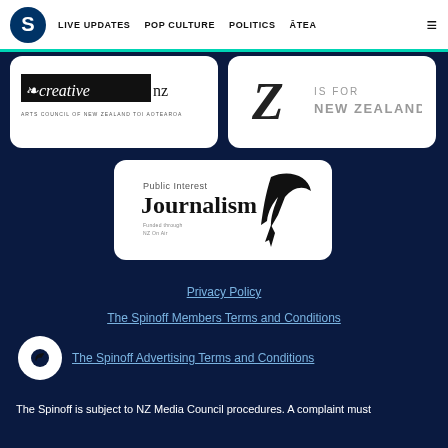S LIVE UPDATES POP CULTURE POLITICS ĀTEA
[Figure (logo): Creative NZ Arts Council of New Zealand Toi Aotearoa logo]
[Figure (logo): Z IS FOR NEW ZEALAND logo]
[Figure (logo): Public Interest Journalism Fund logo]
Privacy Policy
The Spinoff Members Terms and Conditions
The Spinoff Advertising Terms and Conditions
The Spinoff is subject to NZ Media Council procedures. A complaint must